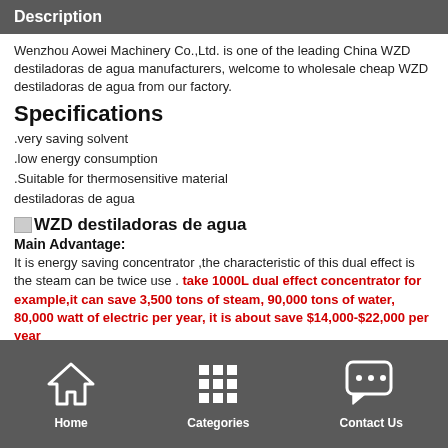Description
Wenzhou Aowei Machinery Co.,Ltd. is one of the leading China WZD destiladoras de agua manufacturers, welcome to wholesale cheap WZD destiladoras de agua from our factory.
Specifications
.very saving solvent
.low energy consumption
.Suitable for thermosensitive material
destiladoras de agua
[image] WZD destiladoras de agua
Main Advantage:
It is energy saving concentrator ,the characteristic of this dual effect is the steam can be twice use . take 1000L dual effect concentrator for example,it can save 3,500 tons of steam, 90,000 tons of water, 80,000 watt of electric per year, it is about save $14,000-$22,000 per year
[image] WZD destiladoras de agua
Product Description
Dual effect energy saving evaporator is used in Chinese traditional
Home  Categories  Contact Us